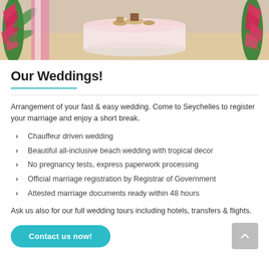[Figure (photo): Beach wedding scene with tropical flower decorations, a white draped round table set for a ceremony on a sandy beach, with colorful tropical flowers on either side.]
Our Weddings!
Arrangement of your fast & easy wedding. Come to Seychelles to register your marriage and enjoy a short break.
Chauffeur driven wedding
Beautiful all-inclusive beach wedding with tropical decor
No pregnancy tests, express paperwork processing
Official marriage registration by Registrar of Government
Attested marriage documents ready within 48 hours
Ask us also for our full wedding tours including hotels, transfers & flights.